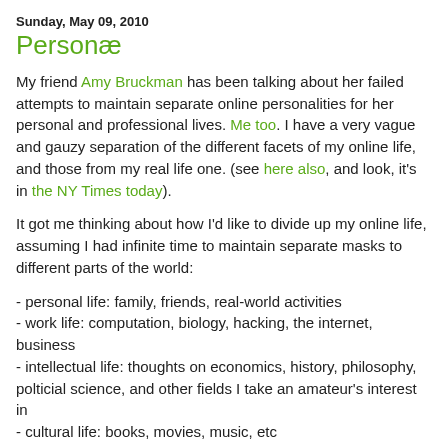Sunday, May 09, 2010
Personæ
My friend Amy Bruckman has been talking about her failed attempts to maintain separate online personalities for her personal and professional lives. Me too. I have a very vague and gauzy separation of the different facets of my online life, and those from my real life one. (see here also, and look, it's in the NY Times today).
It got me thinking about how I'd like to divide up my online life, assuming I had infinite time to maintain separate masks to different parts of the world:
- personal life: family, friends, real-world activities
- work life: computation, biology, hacking, the internet, business
- intellectual life: thoughts on economics, history, philosophy, polticial science, and other fields I take an amateur's interest in
- cultural life: books, movies, music, etc